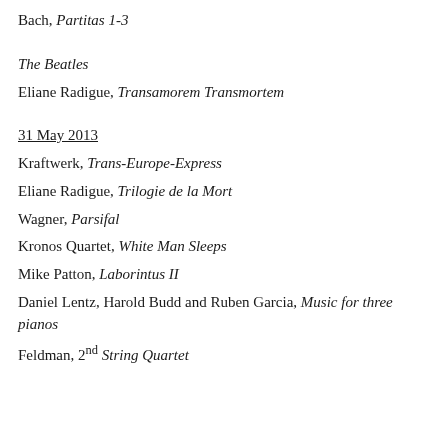Bach, Partitas 1-3
The Beatles
Eliane Radigue, Transamorem Transmortem
31 May 2013
Kraftwerk, Trans-Europe-Express
Eliane Radigue, Trilogie de la Mort
Wagner, Parsifal
Kronos Quartet, White Man Sleeps
Mike Patton, Laborintus II
Daniel Lentz, Harold Budd and Ruben Garcia, Music for three pianos
Feldman, 2nd String Quartet